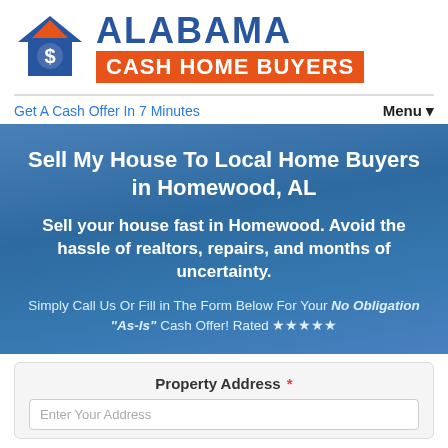[Figure (logo): Alabama Cash Home Buyers logo with house icon containing a dollar sign, blue arrow pointing up, text ALABAMA in blue and CASH HOME BUYERS in white on orange background]
Get A Cash Offer In 7 Minutes
Menu ▾
Sell My House To Local Home Buyers in Homewood, AL
Sell your house fast in Homewood. Avoid the hassle of realtors, repairs, and months of uncertainty.
Simply Call Us Or Fill in The Form Below For Your No Obligation "As-Is" Cash Offer! Rated ★★★★★
Property Address *
Enter Your Address